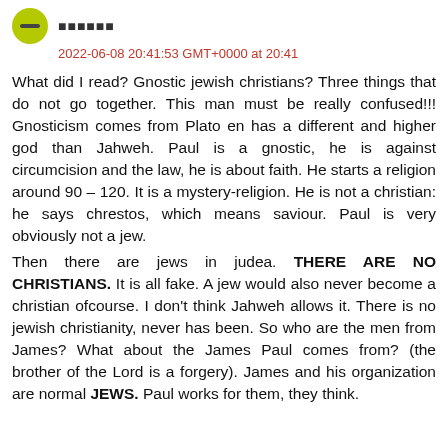2022-06-08 20:41:53 GMT+0000 at 20:41
What did I read? Gnostic jewish christians? Three things that do not go together. This man must be really confused!!! Gnosticism comes from Plato en has a different and higher god than Jahweh. Paul is a gnostic, he is against circumcision and the law, he is about faith. He starts a religion around 90 – 120. It is a mystery-religion. He is not a christian: he says chrestos, which means saviour. Paul is very obviously not a jew.
Then there are jews in judea. THERE ARE NO CHRISTIANS. It is all fake. A jew would also never become a christian ofcourse. I don't think Jahweh allows it. There is no jewish christianity, never has been. So who are the men from James? What about the James Paul comes from? (the brother of the Lord is a forgery). James and his organization are normal JEWS. Paul works for them, they think.